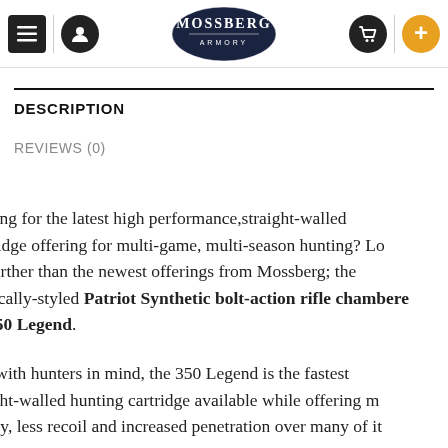Mossberg Armory navigation header with menu, user, cart icons and logo
DESCRIPTION
REVIEWS (0)
king for the latest high performance, straight-walled tridge offering for multi-game, multi-season hunting? Lo further than the newest offerings from Mossberg; the sically-styled Patriot Synthetic bolt-action rifle chambere 350 Legend.
t with hunters in mind, the 350 Legend is the fastest ight-walled hunting cartridge available while offering m rgy, less recoil and increased penetration over many of it